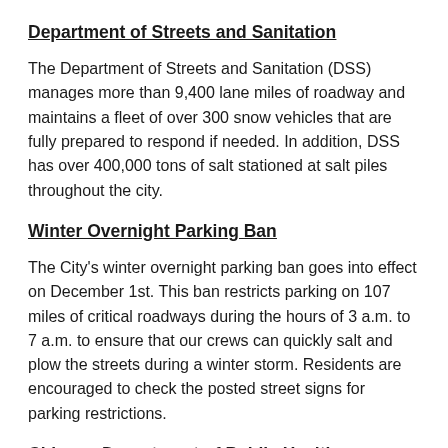Department of Streets and Sanitation
The Department of Streets and Sanitation (DSS) manages more than 9,400 lane miles of roadway and maintains a fleet of over 300 snow vehicles that are fully prepared to respond if needed. In addition, DSS has over 400,000 tons of salt stationed at salt piles throughout the city.
Winter Overnight Parking Ban
The City's winter overnight parking ban goes into effect on December 1st. This ban restricts parking on 107 miles of critical roadways during the hours of 3 a.m. to 7 a.m. to ensure that our crews can quickly salt and plow the streets during a winter storm. Residents are encouraged to check the posted street signs for parking restrictions.
Chicago Department of Public Health